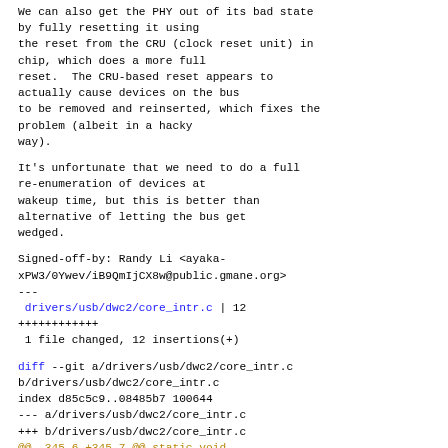We can also get the PHY out of its bad state by fully resetting it using the reset from the CRU (clock reset unit) in chip, which does a more full reset.  The CRU-based reset appears to actually cause devices on the bus to be removed and reinserted, which fixes the problem (albeit in a hacky way).
It's unfortunate that we need to do a full re-enumeration of devices at wakeup time, but this is better than alternative of letting the bus get wedged.
Signed-off-by: Randy Li <ayaka-xPW3/0Ywev/iB9QmIjCX8w@public.gmane.org>
---
 drivers/usb/dwc2/core_intr.c | 12
++++++++++++
 1 file changed, 12 insertions(+)
diff --git a/drivers/usb/dwc2/core_intr.c b/drivers/usb/dwc2/core_intr.c
index d85c5c9..08485b7 100644
--- a/drivers/usb/dwc2/core_intr.c
+++ b/drivers/usb/dwc2/core_intr.c
@@ -345,6 +345,7 @@ static void
dwc2_handle_session_req_intr(struct